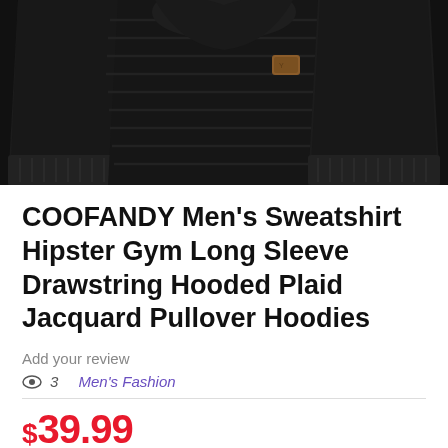[Figure (photo): Black knit sweatshirt/hoodie shown from front with both sleeves visible on a white background. The garment has a ribbed texture pattern, a cowl/hood neck, and a small brown leather logo patch on the chest.]
COOFANDY Men's Sweatshirt Hipster Gym Long Sleeve Drawstring Hooded Plaid Jacquard Pullover Hoodies
Add your review
3  Men's Fashion
$39.99